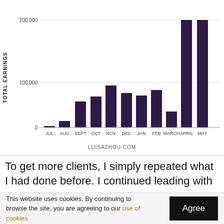[Figure (bar-chart): ]
To get more clients, I simply repeated what I had done before. I continued leading with
This website uses cookies. By continuing to browse the site, you are agreeing to our use of cookies